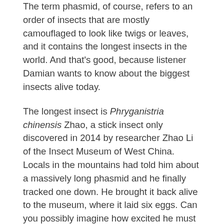The term phasmid, of course, refers to an order of insects that are mostly camouflaged to look like twigs or leaves, and it contains the longest insects in the world. And that's good, because listener Damian wants to know about the biggest insects alive today.
The longest insect is Phryganistria chinensis Zhao, a stick insect only discovered in 2014 by researcher Zhao Li of the Insect Museum of West China. Locals in the mountains had told him about a massively long phasmid and he finally tracked one down. He brought it back alive to the museum, where it laid six eggs. Can you possibly imagine how excited he must have been by those eggs? When they hatched, the smallest of the babies was 26 centimeters long, or over ten inches. The adult female measured 62.4 cm, or just over two feet long. HOLY CRAP. TWO FEET LONG. That's more